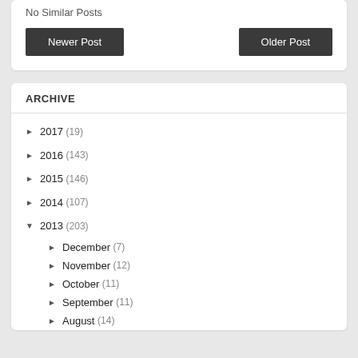No Similar Posts
Newer Post
Older Post
ARCHIVE
► 2017 (19)
► 2016 (143)
► 2015 (146)
► 2014 (107)
▼ 2013 (203)
► December (7)
► November (12)
► October (11)
► September (11)
► August (14)